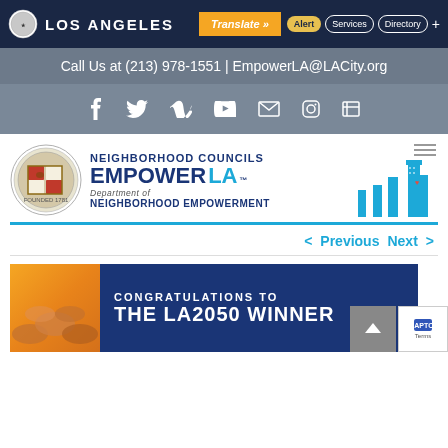LOS ANGELES | Translate » | Alert | Services | Directory
Call Us at (213) 978-1551 | EmpowerLA@LACity.org
[Figure (logo): Social media icons: Facebook, Twitter, Vimeo, YouTube, Email, Instagram, and an additional icon]
[Figure (logo): Neighborhood Councils Empower LA - Department of Neighborhood Empowerment banner with city seal and city skyline]
< Previous   Next >
[Figure (photo): Congratulations to the LA2050 Winner - blue banner with hands clasped together image on the left]